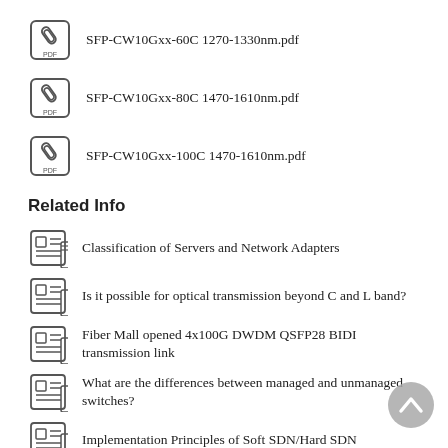SFP-CW10Gxx-60C 1270-1330nm.pdf
SFP-CW10Gxx-80C 1470-1610nm.pdf
SFP-CW10Gxx-100C 1470-1610nm.pdf
Related Info
Classification of Servers and Network Adapters
Is it possible for optical transmission beyond C and L band?
Fiber Mall opened 4x100G DWDM QSFP28 BIDI transmission link
What are the differences between managed and unmanaged switches?
Implementation Principles of Soft SDN/Hard SDN